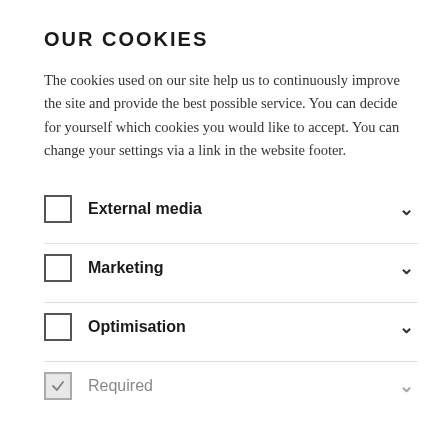OUR COOKIES
The cookies used on our site help us to continuously improve the site and provide the best possible service. You can decide for yourself which cookies you would like to accept. You can change your settings via a link in the website footer.
External media
Marketing
Optimisation
Required